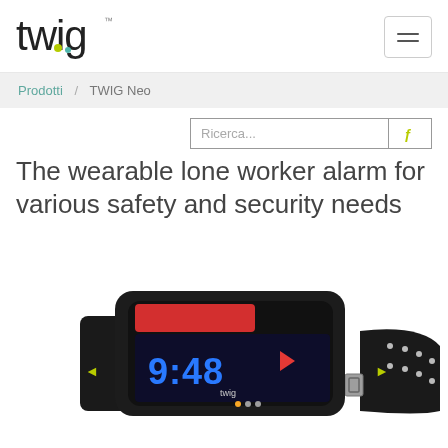twig™
Prodotti / TWIG Neo
The wearable lone worker alarm for various safety and security needs
[Figure (photo): Close-up photo of the TWIG Neo smartwatch/wearable device — a black rectangular device with a digital display showing 9:48 and the twig logo, a red alert stripe, play button icon, and attached to a black NATO-style nylon wristband with metal buckle.]